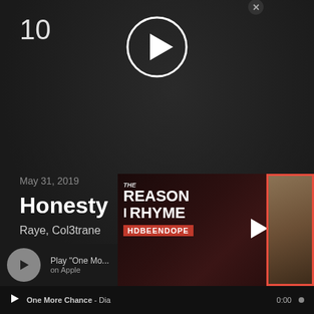10
[Figure (illustration): Circular play button with white border and white triangle pointing right, on dark background]
May 31, 2019
Honesty
Raye, Col3trane
Genre: Hip-Hop / R&B
Free Download
[Figure (screenshot): Bottom media player bar showing play button, 'Play One Mo...' text, 'on Apple' text, with promoted video overlay showing 'THE REASON I RHYME HDBEENDOPE' red banner with thumbnail, and bottom bar with 'One More Chance - Dia', timestamp 0:00]
One More Chance - Dia
0:00